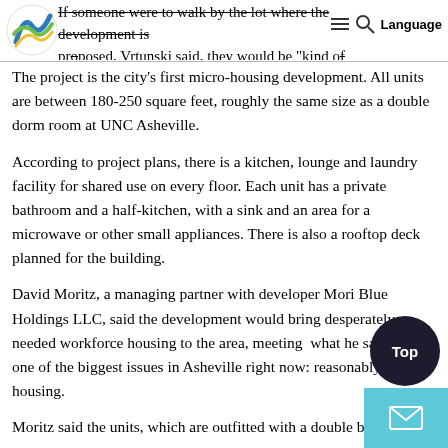If someone were to walk by the lot where the development is proposed, Vrtunski said, they would be "kind of amazed that this much building would fit on such a small piece of land."
The project is the city's first micro-housing development. All units are between 180-250 square feet, roughly the same size as a double dorm room at UNC Asheville.
According to project plans, there is a kitchen, lounge and laundry facility for shared use on every floor. Each unit has a private bathroom and a half-kitchen, with a sink and an area for a microwave or other small appliances. There is also a rooftop deck planned for the building.
David Moritz, a managing partner with developer Mori Blue Holdings LLC, said the development would bring desperately needed workforce housing to the area, meeting  what he said was one of the biggest issues in Asheville right now: reasonably priced housing.
Moritz said the units, which are outfitted with a double bed, can...